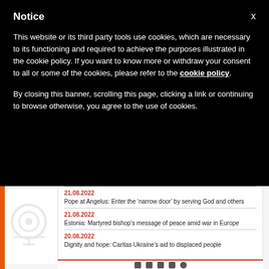Notice
This website or its third party tools use cookies, which are necessary to its functioning and required to achieve the purposes illustrated in the cookie policy. If you want to know more or withdraw your consent to all or some of the cookies, please refer to the cookie policy.
By closing this banner, scrolling this page, clicking a link or continuing to browse otherwise, you agree to the use of cookies.
21.08.2022
Pope at Angelus: Enter the ‘narrow door’ by serving God and others
21.08.2022
Estonia: Martyred bishop’s message of peace amid war in Europe
20.08.2022
Dignity and hope: Caritas Ukraine’s aid to displaced people